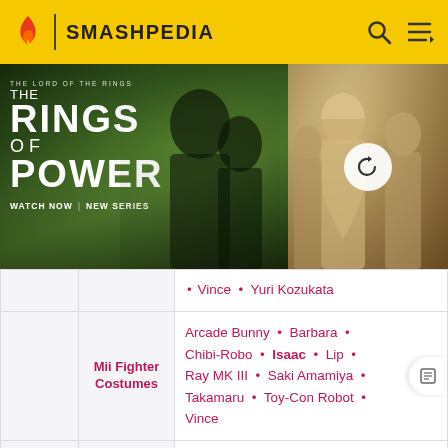SMASHPEDIA
[Figure (photo): Advertisement for The Lord of the Rings: The Rings of Power — Watch Now | New Series, showing two figures on the left panel and a blonde woman with others on the right panel with a refresh icon overlay]
| Category | Sub-category | Content |
| --- | --- | --- |
|  |  | • Vince • Yuri Kozukata |
|  | Mii Fighter Costumes | Arcade Bunny • Barbara • Chibi-Robo • Isaac • Lip • Ray MK III • Saki Amamiya • Takamaru • Toy-Con Robot • Vince |
|  | Enemies | Sneaky Spirit |
| Stages |  | PictoChat • Hanenbow • Balloon Fight • Living Room • PictoChat 2 • Pilotwings • Wrecking Crew |